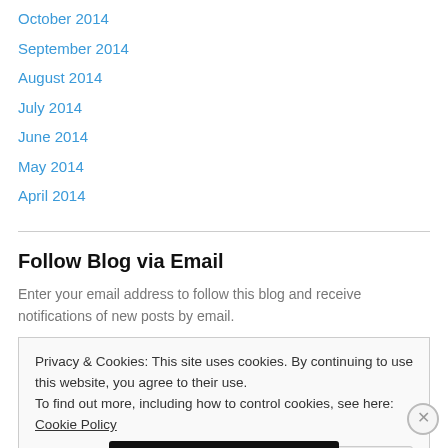October 2014
September 2014
August 2014
July 2014
June 2014
May 2014
April 2014
Follow Blog via Email
Enter your email address to follow this blog and receive notifications of new posts by email.
Privacy & Cookies: This site uses cookies. By continuing to use this website, you agree to their use.
To find out more, including how to control cookies, see here: Cookie Policy